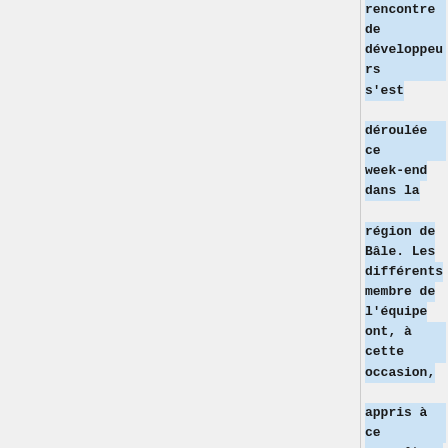rencontre de développeurs s'est déroulée ce week-end dans la région de Bâle. Les différents membre de l'équipe ont, à cette occasion, appris à ce connaître; ont cadré le projet et élaboré un plan de route. Ils ont aussi discutés de